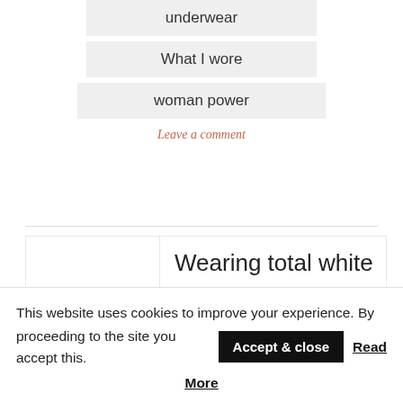underwear
What I wore
woman power
Leave a comment
Wearing total white
Posted on September 8, 2019
Even if they say that the total white
This website uses cookies to improve your experience. By proceeding to the site you accept this. Accept & close Read More